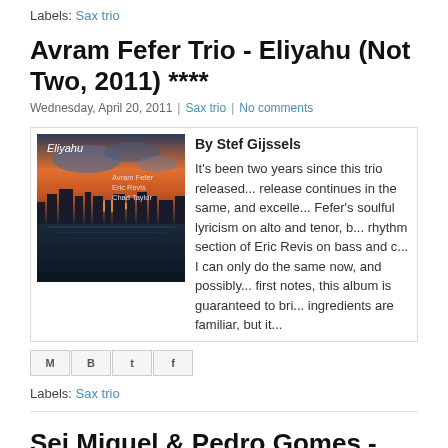Labels: Sax trio
Avram Fefer Trio - Eliyahu (Not Two, 2011) ****
Wednesday, April 20, 2011 | Sax trio | No comments
[Figure (photo): Album cover of 'Eliyahu' by Avram Fefer, Eric Revis, Chad Taylor - sunset cityscape over water]
By Stef Gijssels
It's been two years since this trio released... release continues in the same, and excelle... Fefer's soulful lyricism on alto and tenor, b... rhythm section of Eric Revis on bass and c... I can only do the same now, and possibly... first notes, this album is guaranteed to bri... ingredients are familiar, but it...
[Figure (other): Social share icons: Email, Blogger, Twitter, Facebook]
Labels: Sax trio
Sei Miguel & Pedro Gomes - Turbina Anthem (No ...